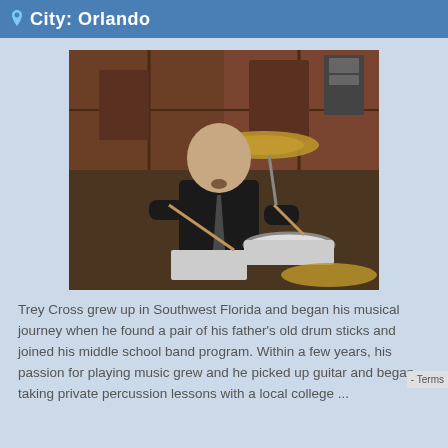City: Orlando
[Figure (photo): A bald man with a goatee wearing a black shirt and tie, playing drums in a room with wooden paneling. He is seated at a drum kit with cymbals visible.]
Trey Cross grew up in Southwest Florida and began his musical journey when he found a pair of his father's old drum sticks and joined his middle school band program. Within a few years, his passion for playing music grew and he picked up guitar and began taking private percussion lessons with a local college ...